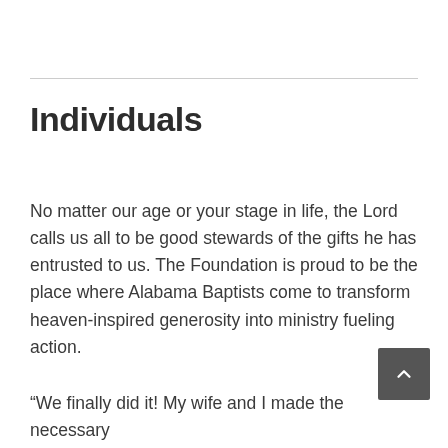Individuals
No matter our age or your stage in life, the Lord calls us all to be good stewards of the gifts he has entrusted to us. The Foundation is proud to be the place where Alabama Baptists come to transform heaven-inspired generosity into ministry fueling action.
“We finally did it! My wife and I made the necessary